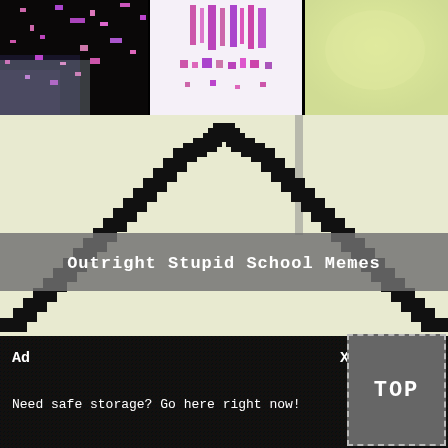[Figure (screenshot): Three thumbnail images in a horizontal strip at the top: left is a dark/black image with pink/purple pixel noise, center is a white background with pink/purple pixel bar code pattern, right is a pale yellow-green soft image.]
[Figure (screenshot): Main large image showing a pixelated black arch/mountain shape on a pale yellow-white background, with a horizontal gray semi-transparent band across the middle containing the text 'Outright Stupid School Memes' in white monospace font.]
Outright Stupid School Memes
[Figure (screenshot): Ad bar at the bottom with dark noisy background. Shows 'Ad' label top left, 'X' close button top right, and text 'Need safe storage? Go here right now!' in white monospace. A gray 'TOP' button with dashed border is at bottom right.]
Ad
X
Need safe storage? Go here right now!
TOP